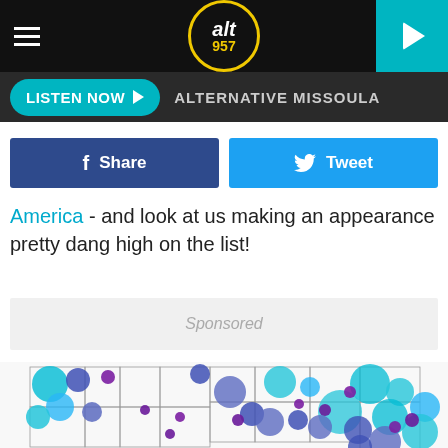[Figure (logo): ALT 957 radio station logo - circular logo with yellow border, 'alt' in white italic and '957' in yellow below, on black background]
LISTEN NOW ▶  ALTERNATIVE MISSOULA
[Figure (infographic): Facebook Share button (dark blue) and Twitter Tweet button (light blue) side by side]
America - and look at us making an appearance pretty dang high on the list!
Sponsored
[Figure (map): Partial map of the United States showing bubble/circle overlays in cyan, blue, and purple colors representing data points across various cities]